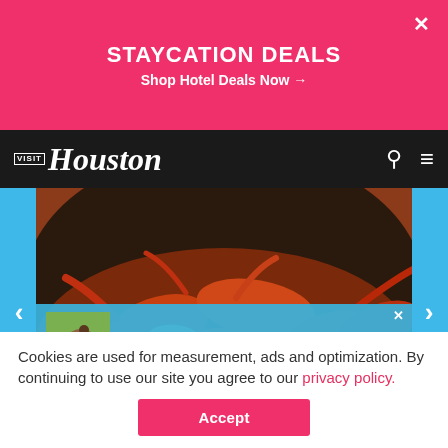STAYCATION DEALS
Shop Hotel Deals Now →
[Figure (screenshot): Visit Houston website screenshot showing navigation bar with 'VISIT Houston' logo, search and menu icons, and a crawfish food photo with 'HISTORY BROUGHT TO LIFE - Visit George Ranch Historical Park ›' overlay banner]
Cookies are used for measurement, ads and optimization. By continuing to use our site you agree to our privacy policy.
Accept